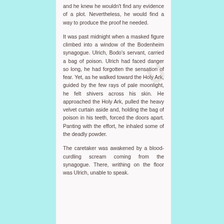and he knew he wouldn't find any evidence of a plot. Nevertheless, he would find a way to produce the proof he needed.
It was past midnight when a masked figure climbed into a window of the Bodenheim synagogue. Ulrich, Bodo's servant, carried a bag of poison. Ulrich had faced danger so long, he had forgotten the sensation of fear. Yet, as he walked toward the Holy Ark, guided by the few rays of pale moonlight, he felt shivers across his skin. He approached the Holy Ark, pulled the heavy velvet curtain aside and, holding the bag of poison in his teeth, forced the doors apart. Panting with the effort, he inhaled some of the deadly powder.
The caretaker was awakened by a blood-curdling scream coming from the synagogue. There, writhing on the floor was Ulrich, unable to speak.